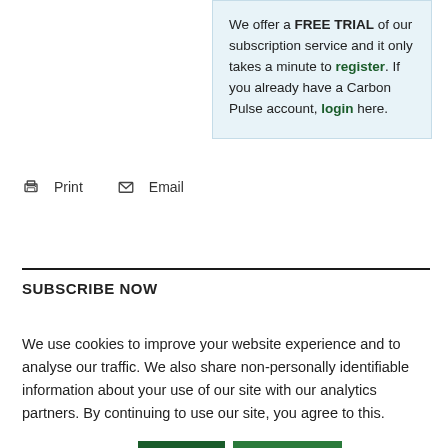We offer a FREE TRIAL of our subscription service and it only takes a minute to register. If you already have a Carbon Pulse account, login here.
Print  Email
SUBSCRIBE NOW
We use cookies to improve your website experience and to analyse our traffic. We also share non-personally identifiable information about your use of our site with our analytics partners. By continuing to use our site, you agree to this.
Cookie settings  Accept  Read More